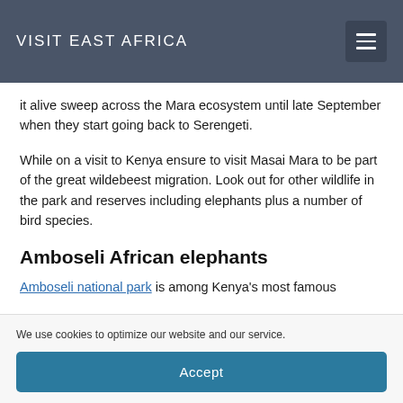VISIT EAST AFRICA
it alive sweep across the Mara ecosystem until late September when they start going back to Serengeti.
While on a visit to Kenya ensure to visit Masai Mara to be part of the great wildebeest migration. Look out for other wildlife in the park and reserves including elephants plus a number of bird species.
Amboseli African elephants
Amboseli national park is among Kenya's most famous
We use cookies to optimize our website and our service.
Accept